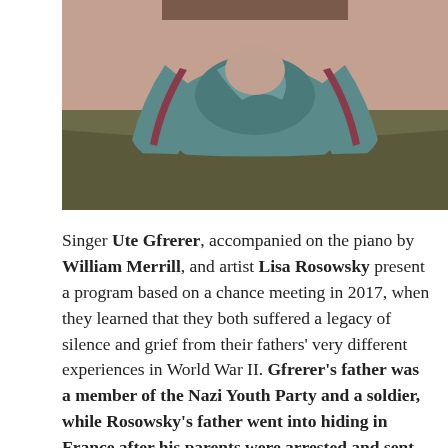[Figure (photo): Close-up photograph of a person wearing an olive/khaki jacket and a teal/grey scarf with pink accent stripe, visible from chest upward, face cropped at top of frame.]
Singer Ute Gfrerer, accompanied on the piano by William Merrill, and artist Lisa Rosowsky present a program based on a chance meeting in 2017, when they learned that they both suffered a legacy of silence and grief from their fathers' very different experiences in World War II. Gfrerer's father was a member of the Nazi Youth Party and a soldier, while Rosowsky's father went into hiding in France after his parents were arrested and sent to Auschwitz. The two daughters have transferred their grief, anger and love for their